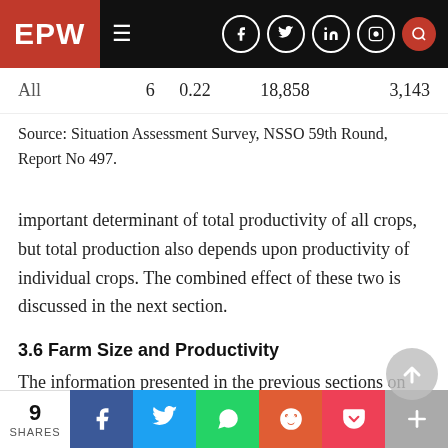EPW
| All | 6 | 0.22 | 18,858 | 3,143 |
Source: Situation Assessment Survey, NSSO 59th Round, Report No 497.
important determinant of total productivity of all crops, but total production also depends upon productivity of individual crops. The combined effect of these two is discussed in the next section.
3.6 Farm Size and Productivity
The information presented in the previous sections on fertiliser use, irrigation, crop intensity, and technology clearly indicate that all of these decline with an increase in farm size – lower th...
9 SHARES